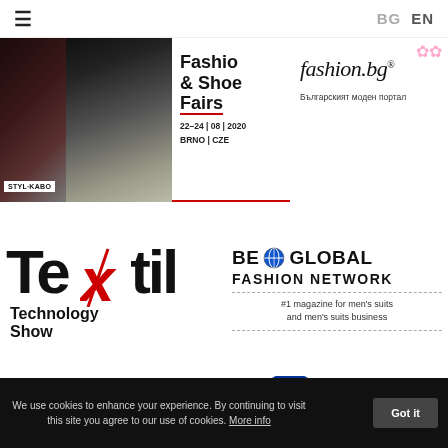≡  BG  EN
[Figure (illustration): Fashion & Shoes Fairs banner — STYL:KABO, two models with colorful makeup, dates 22–24 | 08 | 2020, BRNO | CZE]
[Figure (logo): fashion.bg — Българският моден портал logo with pink flowers]
[Figure (logo): Textil Technology Show logo with red needle replacing 'x']
[Figure (logo): BE GLOBAL FASHION NETWORK — #1 magazine for men's suits and men's suits business; INTERNATIONAL label]
[Figure (logo): EVA magazine logo in red with НИЕ vertical sidebar]
[Figure (logo): European Union circular logo with blue background and yellow stars]
We use cookies to enhance your experience. By continuing to visit this site you agree to our use of cookies. More info
Got it